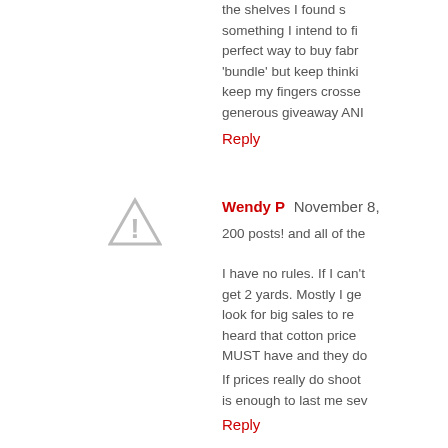the shelves I found something I intend to fix perfect way to buy fabr 'bundle' but keep thinki keep my fingers crosse generous giveaway ANI
Reply
Wendy P November 8,
200 posts! and all of the
I have no rules. If I can't get 2 yards. Mostly I ge look for big sales to re heard that cotton price MUST have and they do
If prices really do shoot is enough to last me sev
Reply